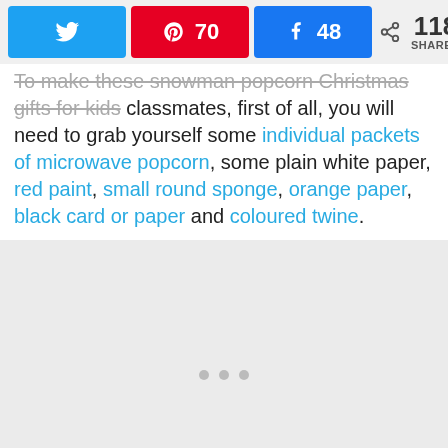[Figure (infographic): Social share bar with Twitter button, Pinterest button showing 70 saves, Facebook button showing 48 shares, and a total of 118 SHARES count]
To make these snowman popcorn Christmas gifts for kids classmates, first of all, you will need to grab yourself some individual packets of microwave popcorn, some plain white paper, red paint, small round sponge, orange paper, black card or paper and coloured twine.